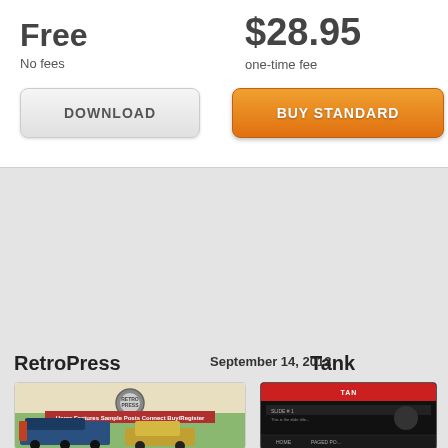Free
No fees
$28.95
one-time fee
DOWNLOAD
BUY STANDARD
RetroPress
September 14, 2012
Tank
[Figure (screenshot): RetroPress WordPress theme thumbnail showing a vintage style website with retro illustration of a steam train and old car]
[Figure (screenshot): Tank WordPress theme thumbnail showing a dark themed website with red header bar]